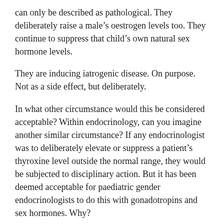can only be described as pathological. They deliberately raise a male's oestrogen levels too. They continue to suppress that child's own natural sex hormone levels.
They are inducing iatrogenic disease. On purpose. Not as a side effect, but deliberately.
In what other circumstance would this be considered acceptable? Within endocrinology, can you imagine another similar circumstance? If any endocrinologist was to deliberately elevate or suppress a patient's thyroxine level outside the normal range, they would be subjected to disciplinary action. But it has been deemed acceptable for paediatric gender endocrinologists to do this with gonadotropins and sex hormones. Why?
In what other speciality would this be considered acceptable? A physically healthy child never enters a